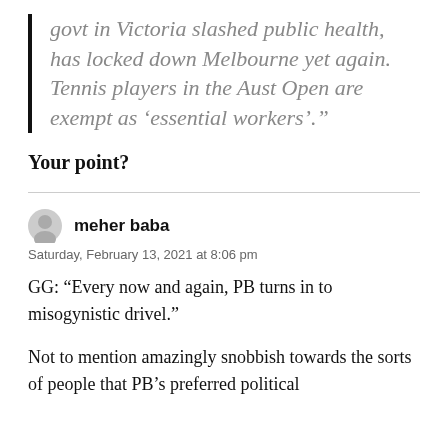govt in Victoria slashed public health, has locked down Melbourne yet again. Tennis players in the Aust Open are exempt as 'essential workers'."
Your point?
meher baba
Saturday, February 13, 2021 at 8:06 pm
GG: “Every now and again, PB turns in to misogynistic drivel.”
Not to mention amazingly snobbish towards the sorts of people that PB’s preferred political